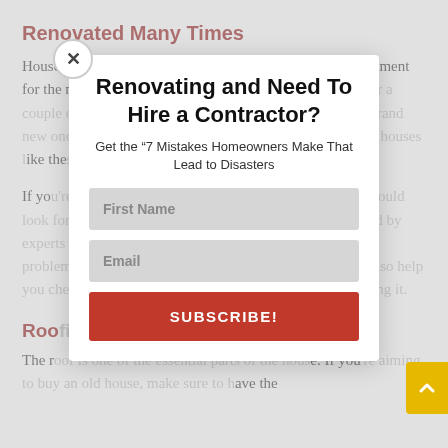Renovated Many Times
Houses that were renovated many times can be a bad investment for the next buyers. Old homes that have been renovated for a couple of times tend to have more complications than the brand new ones. The pipes, the basement, and other appliances in houses like these...
If you're still interested in buying an old house, then you should look for a home that has been managed and well maintained by experts over the years so that you won't experience various problems when you move in. Contacting a contractor can also help you check the quality of the house you're interested in buying it.
Roofing Problems
The roof is one of the essential parts of the house. If you're aiming to buy an old house, make sure to have the...
[Figure (screenshot): Modal popup overlay with title 'Renovating and Need To Hire a Contractor?', subtitle 'Get the "7 Mistakes Homeowners Make That Lead to Disasters"', a First Name input field, an Email input field, and a red SUBSCRIBE! button. A close (X) button appears at the top-left of the modal. Behind the modal, the article text is visible but dimmed.]